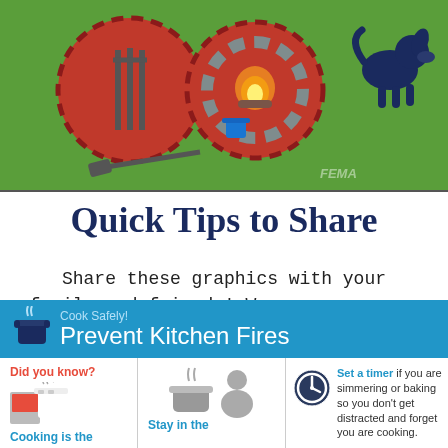[Figure (infographic): Top infographic showing outdoor fire safety scene with grills, campfire stones, spatula tools, and a dog silhouette on a green background. FEMA watermark in bottom right.]
Quick Tips to Share
Share these graphics with your family and friends! We encourage you to print these and also share on social media.
[Figure (infographic): Cook Safely! Prevent Kitchen Fires infographic banner showing header in blue, left column 'Did you know?' with cooking icon, middle column 'Stay in the' with person icon, right column 'Set a timer if you are simmering or baking so you don't get distracted and forget you are cooking.']